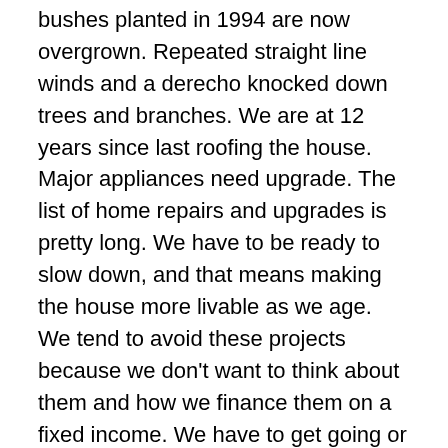bushes planted in 1994 are now overgrown. Repeated straight line winds and a derecho knocked down trees and branches. We are at 12 years since last roofing the house. Major appliances need upgrade. The list of home repairs and upgrades is pretty long. We have to be ready to slow down, and that means making the house more livable as we age. We tend to avoid these projects because we don't want to think about them and how we finance them on a fixed income. We have to get going or the to-do list will only continue to grow.
Seems like I spent a lot of my life developing game plans and this is no different. I know enough to stop the input of new projects and focus on optimizing the use of time and resources. I'll give it until Labor Day. If planning goes on past then, it may drive me crazy.